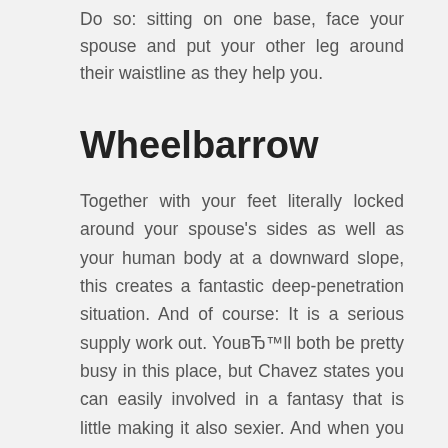Do so: sitting on one base, face your spouse and put your other leg around their waistline as they help you.
Wheelbarrow
Together with your feet literally locked around your spouse's sides as well as your human body at a downward slope, this creates a fantastic deep-penetration situation. And of course: It is a serious supply work out. YouвЂ™ll both be pretty busy in this place, but Chavez states you can easily involved in a fantasy that is little making it also sexier. And when you desire to offer your hands an escape, change and sleep your hands on dining table